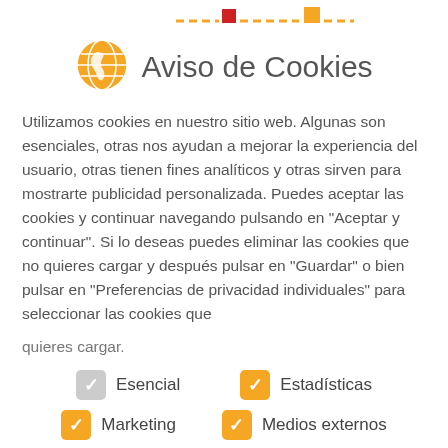Aviso de Cookies
Utilizamos cookies en nuestro sitio web. Algunas son esenciales, otras nos ayudan a mejorar la experiencia del usuario, otras tienen fines analíticos y otras sirven para mostrarte publicidad personalizada. Puedes aceptar las cookies y continuar navegando pulsando en "Aceptar y continuar". Si lo deseas puedes eliminar las cookies que no quieres cargar y después pulsar en "Guardar" o bien pulsar en "Preferencias de privacidad individuales" para seleccionar las cookies que quieres cargar.
Esencial
Estadísticas
Marketing
Medios externos
will get an excellent opportunity to
experience the everyday school life of